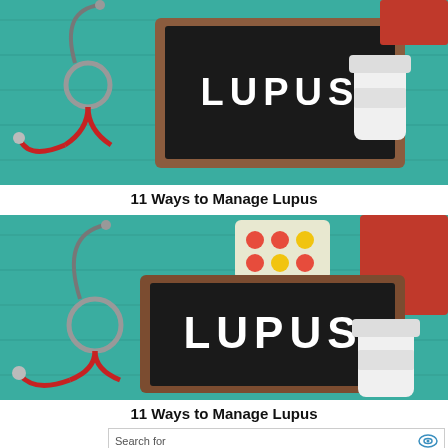[Figure (photo): Medical themed photo with teal wooden background showing a stethoscope, white pill bottle, and a dark chalkboard frame with 'LUPUS' written in white letters]
11 Ways to Manage Lupus
[Figure (photo): Medical themed photo with teal wooden background showing a stethoscope, colorful pills on blister pack, red book, white pill bottle, and a dark chalkboard frame with 'LUPUS' written in white letters]
11 Ways to Manage Lupus
Search for
1. COMMON LUPUS SYMPTOMS
2. LUPUS SKIN RASH
Ad | Business Focus